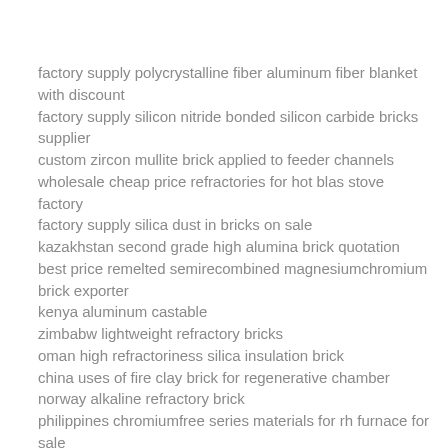factory supply polycrystalline fiber aluminum fiber blanket with discount
factory supply silicon nitride bonded silicon carbide bricks supplier
custom zircon mullite brick applied to feeder channels
wholesale cheap price refractories for hot blas stove factory
factory supply silica dust in bricks on sale
kazakhstan second grade high alumina brick quotation
best price remelted semirecombined magnesiumchromium brick exporter
kenya aluminum castable
zimbabw lightweight refractory bricks
oman high refractoriness silica insulation brick
china uses of fire clay brick for regenerative chamber
norway alkaline refractory brick
philippines chromiumfree series materials for rh furnace for sale